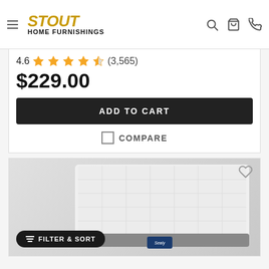Stout Home Furnishings
4.6 (3,565)
$229.00
ADD TO CART
COMPARE
[Figure (photo): Mattress product photo showing quilted white top and grey border with Sealy brand tag]
FILTER & SORT